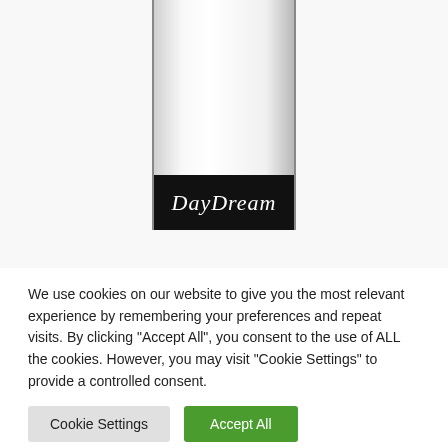[Figure (photo): A bottle with a black label reading 'DayDream' in white cursive script, shown against a white background. The bottle has a clear/glass appearance with a black label band near the bottom.]
We use cookies on our website to give you the most relevant experience by remembering your preferences and repeat visits. By clicking "Accept All", you consent to the use of ALL the cookies. However, you may visit "Cookie Settings" to provide a controlled consent.